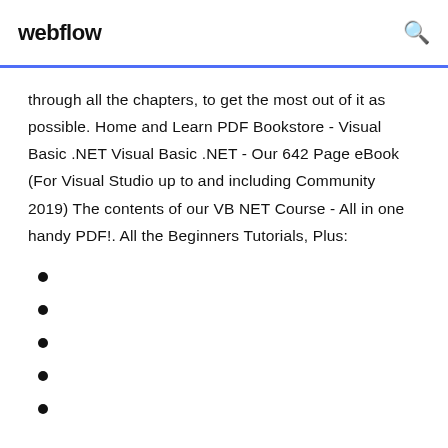webflow
through all the chapters, to get the most out of it as possible. Home and Learn PDF Bookstore - Visual Basic .NET Visual Basic .NET - Our 642 Page eBook (For Visual Studio up to and including Community 2019) The contents of our VB NET Course - All in one handy PDF!. All the Beginners Tutorials, Plus: